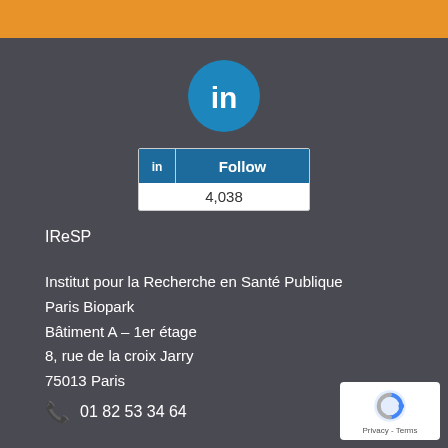[Figure (logo): Orange horizontal bar at the top of the page]
[Figure (logo): LinkedIn circular logo icon in teal/blue with white 'in' text]
[Figure (infographic): LinkedIn Follow button widget showing 4,038 followers]
IReSP
Institut pour la Recherche en Santé Publique
Paris Biopark
Bâtiment A – 1er étage
8, rue de la croix Jarry
75013 Paris
01 82 53 34 64
[Figure (infographic): reCAPTCHA badge showing Privacy - Terms text]